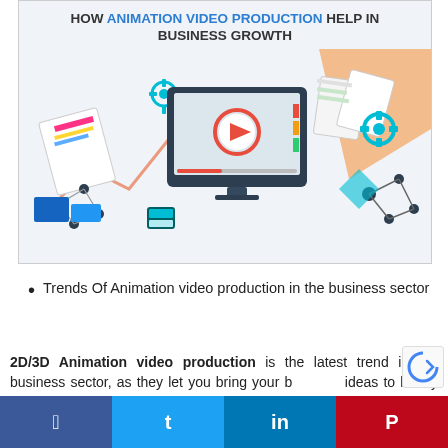[Figure (infographic): Infographic titled 'HOW ANIMATION VIDEO PRODUCTION HELP IN BUSINESS GROWTH' showing a computer monitor with a play button, surrounded by charts, gears, network diagrams, and colorful design elements on a light background.]
Trends Of Animation video production in the business sector
2D/3D Animation video production is the latest trend in the business sector, as they let you bring your business ideas to life by enhancing brand image.